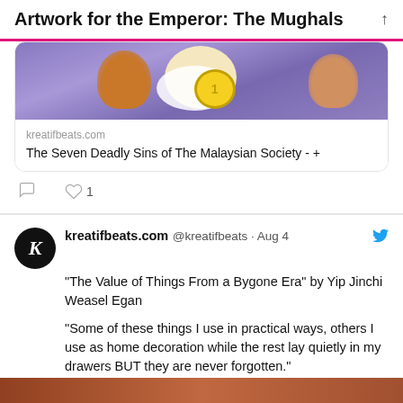Artwork for the Emperor: The Mughals
[Figure (screenshot): Twitter/social media screenshot showing a link preview card with cartoon image from kreatifbeats.com titled 'The Seven Deadly Sins of The Malaysian Society - +' with comment and like (1) action icons below]
kreatifbeats.com @kreatifbeats · Aug 4
"The Value of Things From a Bygone Era" by Yip Jinchi Weasel Egan

"Some of these things I use in practical ways, others I use as home decoration while the rest lay quietly in my drawers BUT they are never forgotten."

kreatifbeats.com/the-value-of-t...